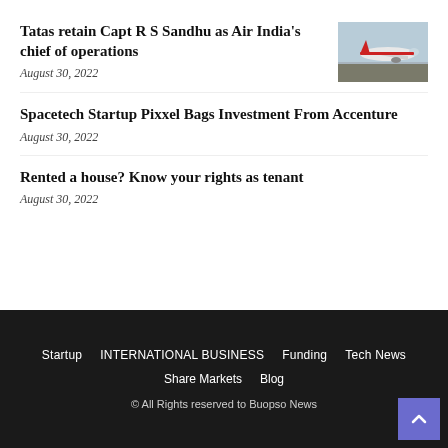Tatas retain Capt R S Sandhu as Air India’s chief of operations
August 30, 2022
[Figure (photo): Photo of an Air India aircraft on runway]
Spacetech Startup Pixxel Bags Investment From Accenture
August 30, 2022
Rented a house? Know your rights as tenant
August 30, 2022
Startup  INTERNATIONAL BUSINESS  Funding  Tech News  Share Markets  Blog  © All Rights reserved to Buopso News